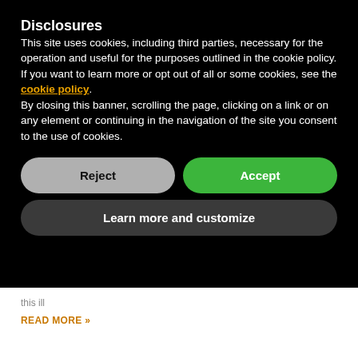Disclosures
This site uses cookies, including third parties, necessary for the operation and useful for the purposes outlined in the cookie policy. If you want to learn more or opt out of all or some cookies, see the cookie policy. By closing this banner, scrolling the page, clicking on a link or on any element or continuing in the navigation of the site you consent to the use of cookies.
Reject
Accept
Learn more and customize
this ill
READ MORE »